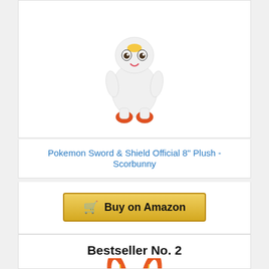[Figure (photo): White bird-like Pokemon plush toy (Sobble/Scorbunny area) standing upright with orange feet and yellow marking on head]
Pokemon Sword & Shield Official 8" Plush - Scorbunny
[Figure (other): Buy on Amazon button with shopping cart icon]
Bestseller No. 2
[Figure (photo): White Scorbunny Pokemon plush toy with orange and white ears, yellow mark on forehead, red markings on chest, orange feet, standing upright]